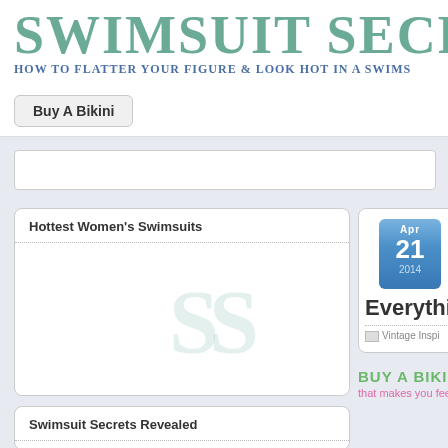SWIMSUIT SECRE
HOW TO FLATTER YOUR FIGURE & LOOK HOT IN A SWIMS
Buy A Bikini
Hottest Women's Swimsuits
[Figure (logo): SS watermark logo in light teal]
Swimsuit Secrets Revealed
[Figure (infographic): Calendar date block showing Apr 21 2014 in blue gradient, with post title 'Everythi' and category 'Vintage Inspi']
BUY A BIKINI
that makes you feel